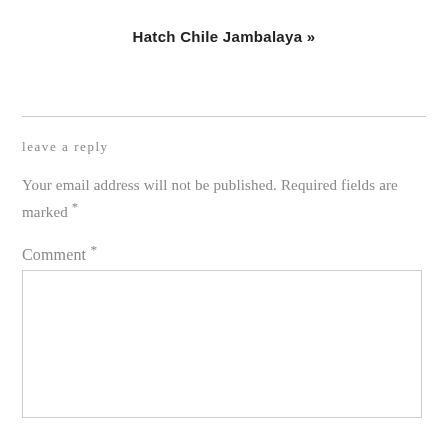Hatch Chile Jambalaya »
leave a reply
Your email address will not be published. Required fields are marked *
Comment *